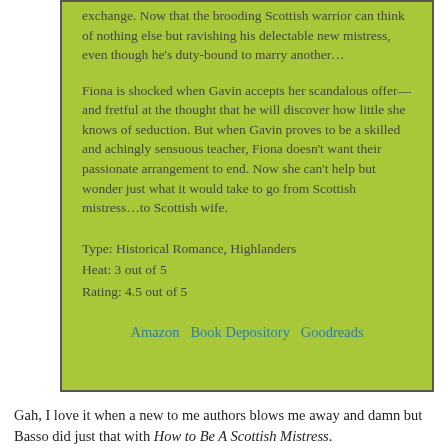exchange. Now that the brooding Scottish warrior can think of nothing else but ravishing his delectable new mistress, even though he's duty-bound to marry another…
Fiona is shocked when Gavin accepts her scandalous offer—and fretful at the thought that he will discover how little she knows of seduction. But when Gavin proves to be a skilled and achingly sensuous teacher, Fiona doesn't want their passionate arrangement to end. Now she can't help but wonder just what it would take to go from Scottish mistress…to Scottish wife.
Type: Historical Romance, Highlanders
Heat: 3 out of 5
Rating: 4.5 out of 5
Amazon Book Depository Goodreads
Gah, I love it when a new to me authors blows me away and damn but Basso did just that with How to Be A Scottish Mistress.